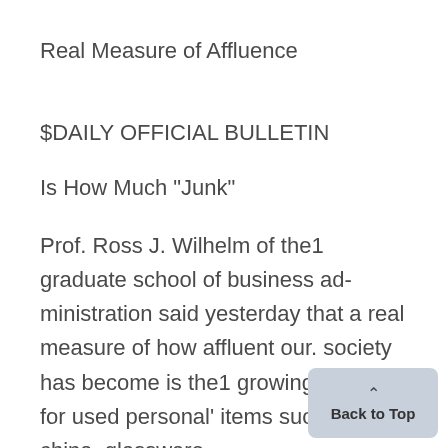Real Measure of Affluence
$DAILY OFFICIAL BULLETIN
Is How Much "Junk"
Prof. Ross J. Wilhelm of the1 graduate school of business administration said yesterday that a real measure of how affluent our. society has become is the1 growing market for used personal' items such as china, glassware,